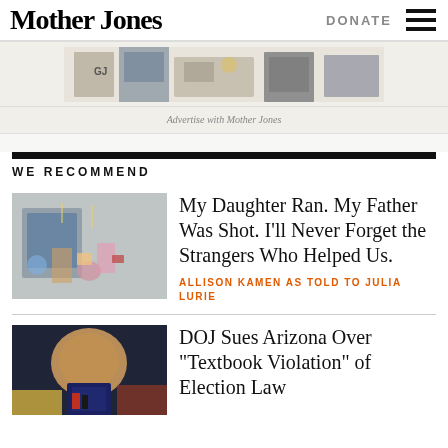Mother Jones | DONATE
[Figure (illustration): Advertisement banner with illustration of office/desk scene]
Advertise with Mother Jones
WE RECOMMEND
[Figure (photo): Outdoor plaza with children's bicycles, chairs, balloons and yellow police tape near a building]
My Daughter Ran. My Father Was Shot. I'll Never Forget the Strangers Who Helped Us.
ALLISON KAMEN AS TOLD TO JULIA LURIE
[Figure (photo): Man in a suit speaking at a podium, appearing to be a politician or official]
DOJ Sues Arizona Over “Textbook Violation” of Election Law